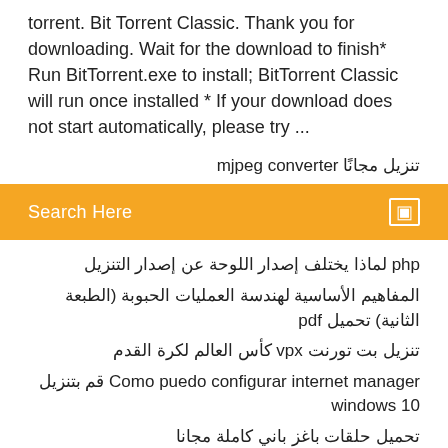torrent. Bit Torrent Classic. Thank you for downloading. Wait for the download to finish* Run BitTorrent.exe to install; BitTorrent Classic will run once installed * If your download does not start automatically, please try ...
تنزيل مجانًا mjpeg converter
[Figure (screenshot): Orange search bar with 'Search Here' placeholder text and a small icon on the right]
php لماذا يختلف إصدار اللوحة عن إصدار التنزيل
المفاهيم الأساسية لهندسة العمليات الحبوبة (الطبعة الثانية) تحميل pdf
تنزيل بت تورنت vpx كأس العالم لكرة القدم
Como puedo configurar internet manager قم بتنزيل windows 10
تحميل حلقات باغز باني كاملة مجانا
من عارض المستندات pdf تنزيل ملف
كيفية تنزيل مقطع فيديو من google drive android
لن يتم تنزيل سيل خليج القراصنة